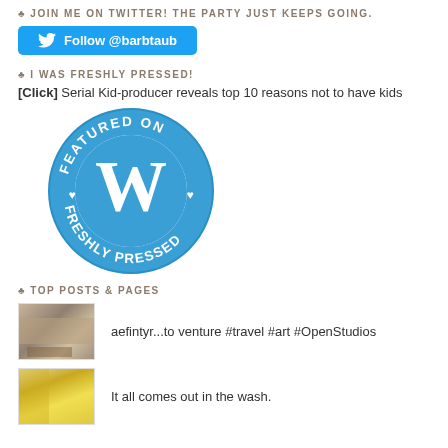♣ JOIN ME ON TWITTER! THE PARTY JUST KEEPS GOING.
[Figure (illustration): Twitter Follow button with bird logo: Follow @barbtaub]
♣ I WAS FRESHLY PRESSED!
[Click] Serial Kid-producer reveals top 10 reasons not to have kids
[Figure (logo): Featured on Freshly Pressed WordPress badge - blue circular badge with WordPress W logo]
♣ TOP POSTS & PAGES
aefintyr...to venture #travel #art #OpenStudios
It all comes out in the wash.